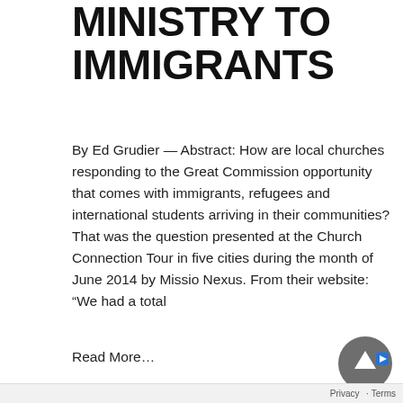MINISTRY TO IMMIGRANTS
By Ed Grudier — Abstract: How are local churches responding to the Great Commission opportunity that comes with immigrants, refugees and international students arriving in their communities? That was the question presented at the Church Connection Tour in five cities during the month of June 2014 by Missio Nexus. From their website: “We had a total
Read More…